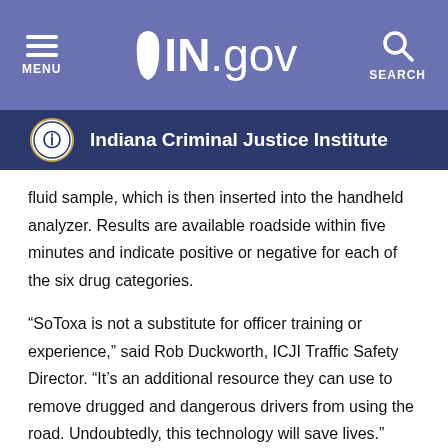MENU  IN.gov  SEARCH
Indiana Criminal Justice Institute
fluid sample, which is then inserted into the handheld analyzer. Results are available roadside within five minutes and indicate positive or negative for each of the six drug categories.
“SoToxa is not a substitute for officer training or experience,” said Rob Duckworth, ICJI Traffic Safety Director. “It’s an additional resource they can use to remove drugged and dangerous drivers from using the road. Undoubtedly, this technology will save lives.”
Much like a portable breathalyzer, the SoToxa test can be refused, and the results cannot be used as evidence in court to determine if the driver was impaired. The purpose of the test is to further establish probable cause, which can be used by the